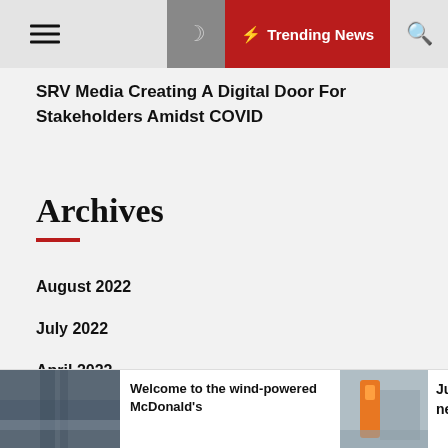SRV Media Creating A Digital Door For Stakeholders Amidst COVID
Archives
August 2022
July 2022
April 2022
March 2022
Welcome to the wind-powered McDonald's
Just new